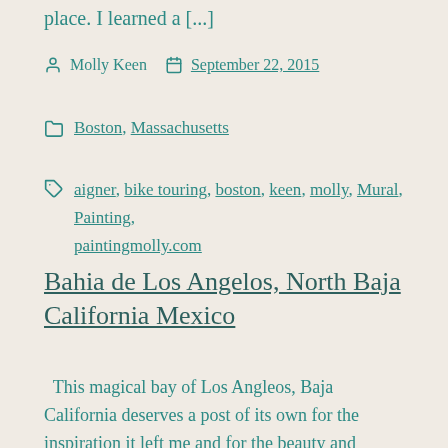place. I learned a [...]
Molly Keen  September 22, 2015
Boston, Massachusetts
aigner, bike touring, boston, keen, molly, Mural, Painting, paintingmolly.com
Bahia de Los Angelos, North Baja California Mexico
This magical bay of Los Angleos, Baja California deserves a post of its own for the inspiration it left me and for the beauty and screnity of its